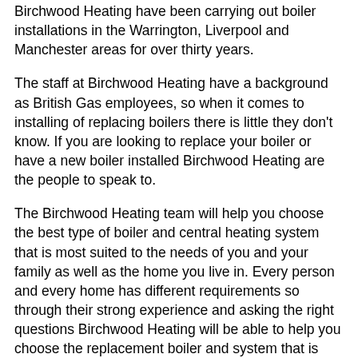Birchwood Heating have been carrying out boiler installations in the Warrington, Liverpool and Manchester areas for over thirty years.
The staff at Birchwood Heating have a background as British Gas employees, so when it comes to installing of replacing boilers there is little they don't know. If you are looking to replace your boiler or have a new boiler installed Birchwood Heating are the people to speak to.
The Birchwood Heating team will help you choose the best type of boiler and central heating system that is most suited to the needs of you and your family as well as the home you live in. Every person and every home has different requirements so through their strong experience and asking the right questions Birchwood Heating will be able to help you choose the replacement boiler and system that is best for you. The Birchwood Heating give you all the advice that you need to be able to make the right decision, with no pushy sales techniques – just free help and advice.
Once you have chosen the boiler that suits your needs a Birchwood Heating specialist will then arrange a date and time that is convenient for the installation to take place.